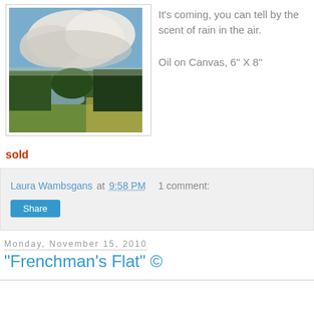[Figure (photo): Oil painting of a landscape with dramatic clouds in a blue sky, trees along a waterline, and green fields in the foreground.]
It's coming, you can tell by the scent of rain in the air.
Oil on Canvas, 6" X 8"
sold
Laura Wambsgans at 9:58 PM    1 comment:
Share
Monday, November 15, 2010
"Frenchman's Flat" ©